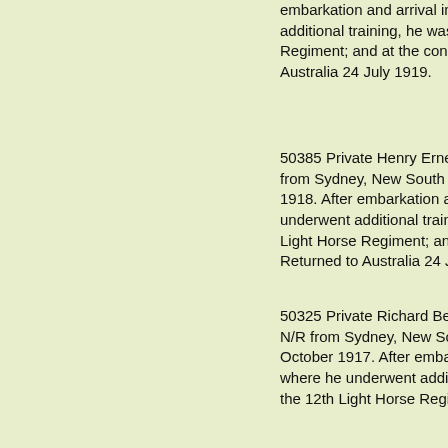embarkation and arrival in Egypt where he underwent additional training, he was allotted to the 14th Light Horse Regiment; and at the conclusion of the war Returned to Australia 24 July 1919.
50385 Private Henry Ernest HEWITT, a 29 year old N/R from Sydney, New South Wales. He enlisted on 3 April 1918. After embarkation and arrival in Egypt where he underwent additional training, he was allotted to the 14th Light Horse Regiment; and at the conclusion of the war Returned to Australia 24 July 1919.
50325 Private Richard Bernard HOGAN, a 32 year old N/R from Sydney, New South Wales. He enlisted on 30 October 1917. After embarkation and arrival in Egypt where he underwent additional training, he was allotted to the 12th Light Horse Regiment; and at the conclusion